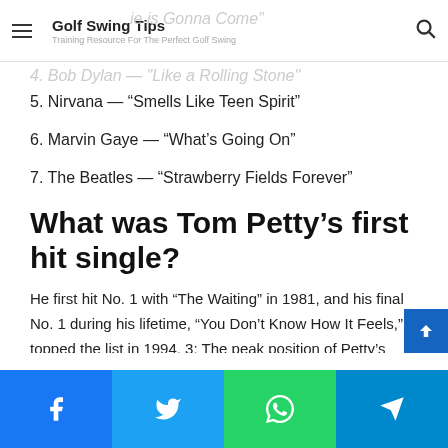Golf Swing Tips — Training Resource For The Perfect Golf Swing
5. Nirvana — “Smells Like Teen Spirit”
6. Marvin Gaye — “What’s Going On”
7. The Beatles — “Strawberry Fields Forever”
What was Tom Petty’s first hit single?
He first hit No. 1 with “The Waiting” in 1981, and his final No. 1 during his lifetime, “You Don’t Know How It Feels,” topped the list in 1994. 3: The peak position of Petty’s highest-charting song on the Billboard Hot 100, “Stop Draggin’ My Heart Around,” with Stevie Nicks in 1981.
Social share buttons: Facebook, Twitter, WhatsApp, Telegram